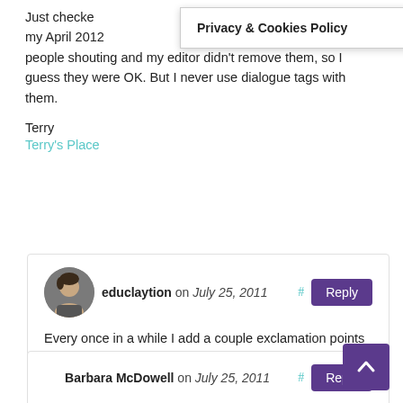Just checked the manuscript for my April 2012 [book] they're all in the context of people shouting and my editor didn't remove them, so I guess they were OK. But I never use dialogue tags with them.
Terry
Terry's Place
Privacy & Cookies Policy
educlaytion on July 25, 2011 #
Every once in a while I add a couple exclamation points to my writing so I can go back and murder them later. And right on about the adverbs. I can't believe how many bigtime writers drop so many of them.
Barbara McDowell on July 25, 2011 #